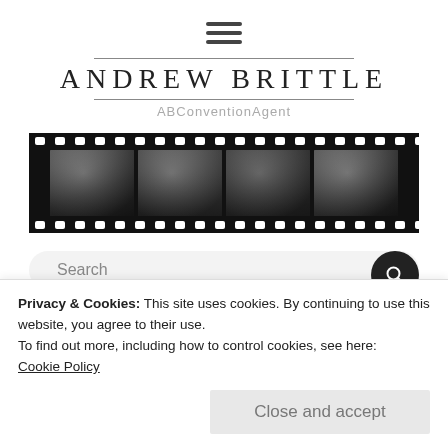[Figure (other): Hamburger menu icon with three horizontal lines]
ANDREW BRITTLE
ABConventionAgent
[Figure (photo): Black and white filmstrip with four frames showing people at what appears to be a convention]
[Figure (other): Search bar with magnifying glass icon]
Privacy & Cookies: This site uses cookies. By continuing to use this website, you agree to their use.
To find out more, including how to control cookies, see here:
Cookie Policy
Close and accept